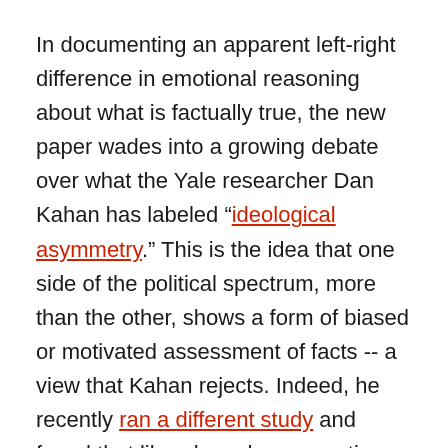In documenting an apparent left-right difference in emotional reasoning about what is factually true, the new paper wades into a growing debate over what the Yale researcher Dan Kahan has labeled “ideological asymmetry.” This is the idea that one side of the political spectrum, more than the other, shows a form of biased or motivated assessment of facts -- a view that Kahan rejects. Indeed, he recently ran a different study and found that liberals and conservatives were more symmetrical in their biases, albeit not on a live political issue.
The question of why some researchers find results seeming to support the left-right asymmetry hypothesis, even as others do not, remains